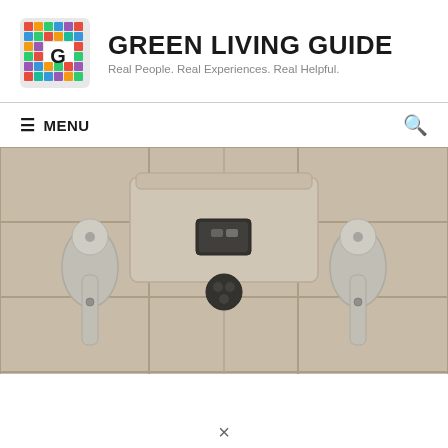GREEN LIVING GUIDE — Real People. Real Experiences. Real Helpful.
≡ MENU
[Figure (photo): Close-up photo of a toilet cistern/tank mounted on tiled wall with two side bolts and a flush mechanism in the center, showing a modern dual-flush button and black flush lever knob. Tiles are beige/cream colored.]
×